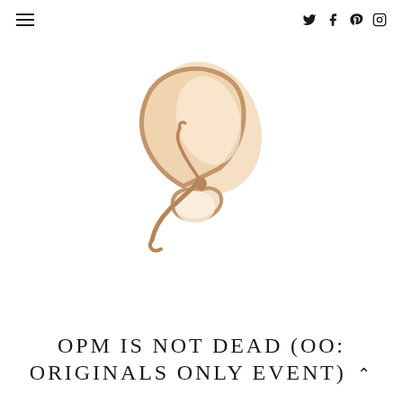≡   ✦ f ⊕ ⊙
[Figure (logo): A minimalist butterfly illustration in warm beige and tan tones. The butterfly is rendered with simple curved brush-stroke lines forming wings — a large upper wing shape filled with soft peach/cream gradient and outlined in tan/brown, and a smaller lower wing; the body is a thin curved line with antennae.]
OPM IS NOT DEAD (OO: ORIGINALS ONLY EVENT) ^